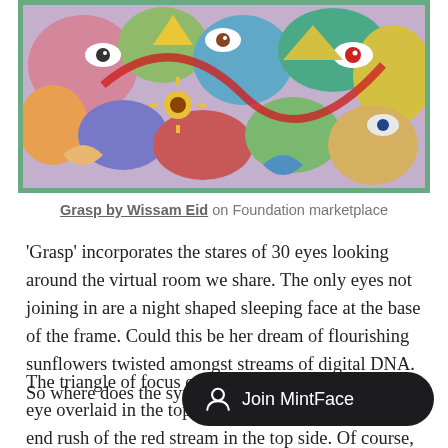[Figure (illustration): Colorful abstract artwork 'Grasp' by Wissam Eid showing 30 eyes, faces, sunflowers and digital DNA streams in a vibrant illustrated style with green frame border]
Grasp by Wissam Eid on Foundation marketplace
'Grasp' incorporates the stares of 30 eyes looking around the virtual room we share. The only eyes not joining in are a night shaped sleeping face at the base of the frame. Could this be her dream of flourishing sunflowers twisted amongst streams of digital DNA. So where does the symmetry come in?
The triangle of focus originates from a white sticker eye overlaid in the top right... bottom right and the end rush of the red stream in the top side. Of course, the top plac...